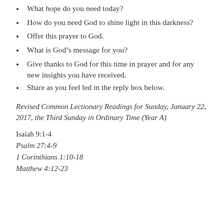What hope do you need today?
How do you need God to shine light in this darkness?
Offer this prayer to God.
What is God’s message for you?
Give thanks to God for this time in prayer and for any new insights you have received.
Share as you feel led in the reply box below.
Revised Common Lectionary Readings for Sunday, January 22, 2017, the Third Sunday in Ordinary Time (Year A)
Isaiah 9:1-4
Psalm 27:4-9
1 Corinthians 1:10-18
Matthew 4:12-23